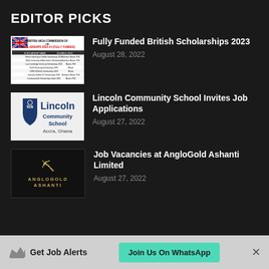EDITOR PICKS
[Figure (screenshot): British High Commission scholarship table document thumbnail]
Fully Funded British Scholarships 2023
August 28, 2022
[Figure (logo): LCS Lincoln Community School Accra, Ghana logo]
Lincoln Community School Invites Job Applications
August 27, 2022
[Figure (logo): AngloGold Ashanti company logo on black background]
Job Vacancies at AngloGold Ashanti Limited
August 27, 2022
Get Job Alerts  Join Us On WhatsApp  ×